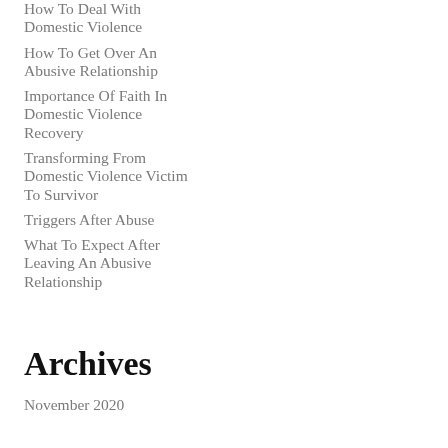How To Deal With Domestic Violence
How To Get Over An Abusive Relationship
Importance Of Faith In Domestic Violence Recovery
Transforming From Domestic Violence Victim To Survivor
Triggers After Abuse
What To Expect After Leaving An Abusive Relationship
Archives
November 2020